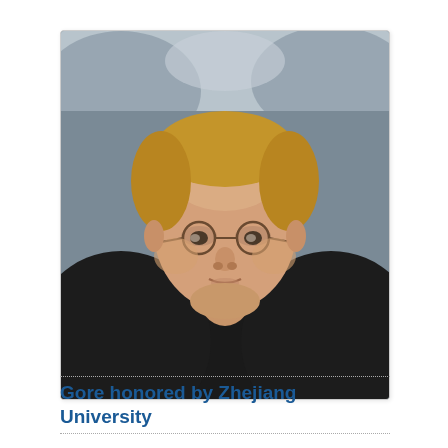[Figure (photo): Portrait photo of a middle-aged man with blonde hair, round glasses, and a black jacket, photographed from a slightly elevated angle against a blurred indoor background.]
Gore honored by Zhejiang University